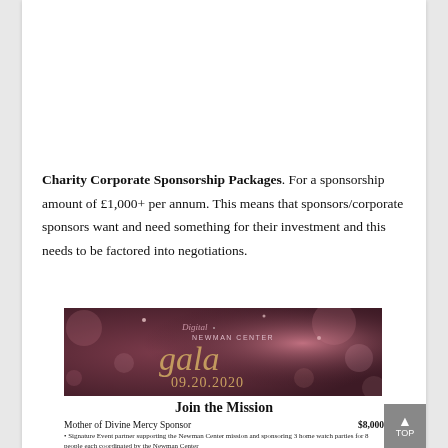Charity Corporate Sponsorship Packages. For a sponsorship amount of £1,000+ per annum. This means that sponsors/corporate sponsors want and need something for their investment and this needs to be factored into negotiations.
[Figure (illustration): Digital Newman Center Gala 09.20.2020 banner image with bokeh light background in purple/mauve tones and gold text]
Join the Mission
| Sponsor Level | Amount |
| --- | --- |
| Mother of Divine Mercy Sponsor | $8,000 |
| Saint Thomas More Sponsor | $4,000 |